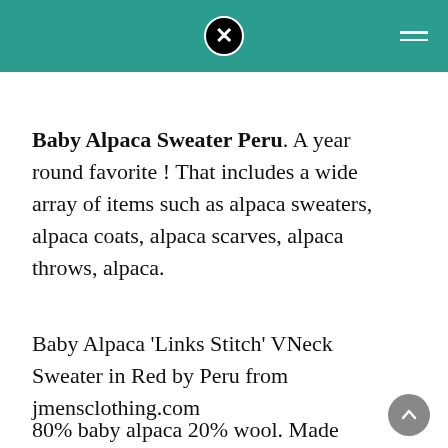Baby Alpaca Sweater Peru. A year round favorite ! That includes a wide array of items such as alpaca sweaters, alpaca coats, alpaca scarves, alpaca throws, alpaca.
Baby Alpaca 'Links Stitch' VNeck Sweater in Red by Peru from jmensclothing.com
80% baby alpaca 20% wool. Made from the best quality baby alpaca. Perfect for